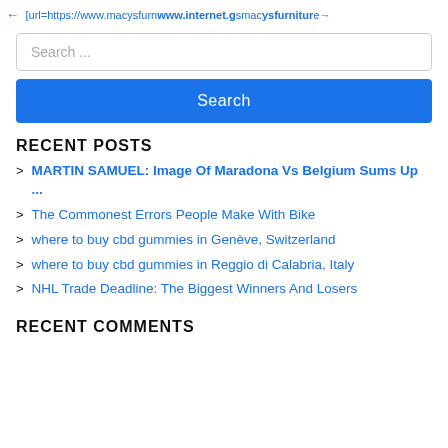← [url=https://www.macysfurnwww.internet.gsmacysfurniture/→
Search ...
Search
RECENT POSTS
MARTIN SAMUEL: Image Of Maradona Vs Belgium Sums Up ...
The Commonest Errors People Make With Bike
where to buy cbd gummies in Genève, Switzerland
where to buy cbd gummies in Reggio di Calabria, Italy
NHL Trade Deadline: The Biggest Winners And Losers
RECENT COMMENTS